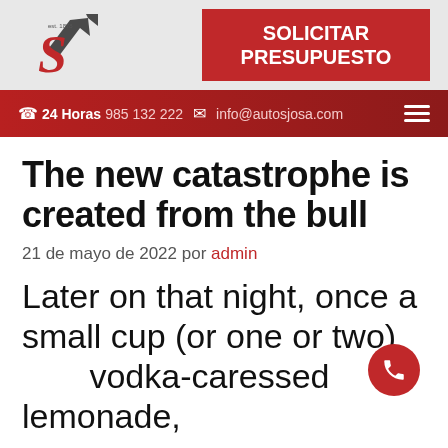[Figure (logo): Autos Josa logo — stylized red S letter with a dark grey upward arrow, est. 1878]
[Figure (other): Red CTA button reading SOLICITAR PRESUPUESTO]
☎ 24 Horas 985 132 222  ✉ info@autosjosa.com
The new catastrophe is created from the bull
21 de mayo de 2022 por admin
Later on that night, once a small cup (or one or two) vodka-caressed lemonade,